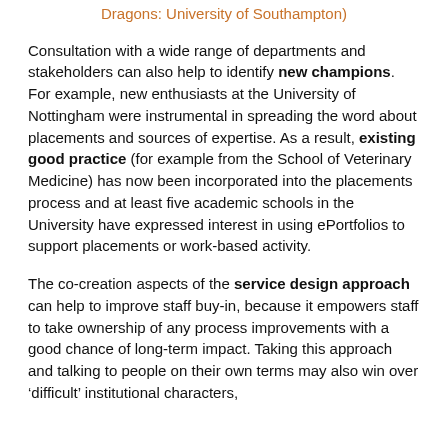Dragons: University of Southampton)
Consultation with a wide range of departments and stakeholders can also help to identify new champions. For example, new enthusiasts at the University of Nottingham were instrumental in spreading the word about placements and sources of expertise. As a result, existing good practice (for example from the School of Veterinary Medicine) has now been incorporated into the placements process and at least five academic schools in the University have expressed interest in using ePortfolios to support placements or work-based activity.
The co-creation aspects of the service design approach can help to improve staff buy-in, because it empowers staff to take ownership of any process improvements with a good chance of long-term impact. Taking this approach and talking to people on their own terms may also win over ‘difficult’ institutional characters,